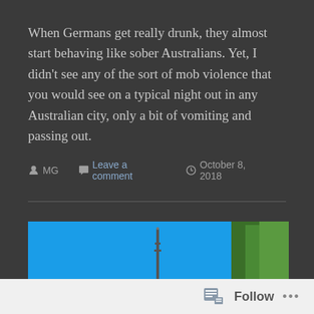When Germans get really drunk, they almost start behaving like sober Australians. Yet, I didn't see any of the sort of mob violence that you would see on a typical night out in any Australian city, only a bit of vomiting and passing out.
MG   Leave a comment   October 8, 2018
Bikes, Bants & Banks
[Figure (photo): Partial view of a blue sky with a tower/antenna in the center and trees on the right edge]